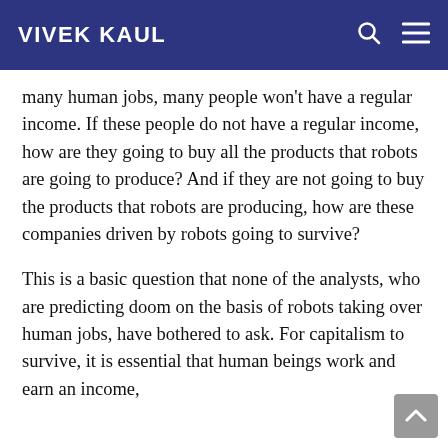VIVEK KAUL
many human jobs, many people won't have a regular income. If these people do not have a regular income, how are they going to buy all the products that robots are going to produce? And if they are not going to buy the products that robots are producing, how are these companies driven by robots going to survive?
This is a basic question that none of the analysts, who are predicting doom on the basis of robots taking over human jobs, have bothered to ask. For capitalism to survive, it is essential that human beings work and earn an income,